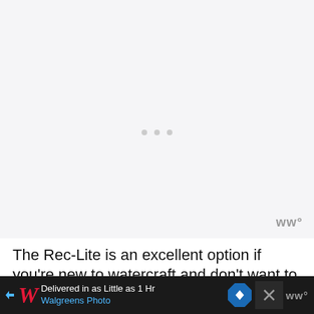[Figure (photo): Large mostly blank/white image area with faint loading indicator dots in the center and a watermark logo (stylized 'W°') in the bottom right corner]
The Rec-Lite is an excellent option if you're new to watercraft and don't want to
[Figure (screenshot): Advertisement bar at bottom: Walgreens Photo ad with text 'Delivered in as Little as 1 Hr' and 'Walgreens Photo', navigation diamond icon, and close X button with watermark]